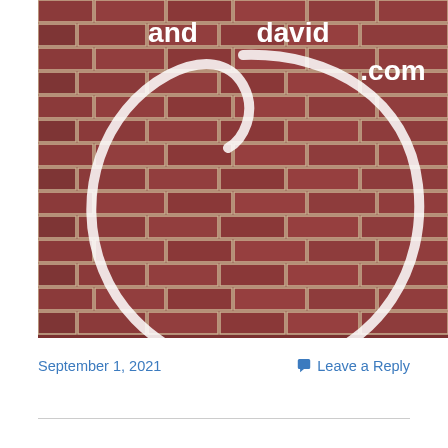[Figure (photo): Photo showing a brick wall with a circular white swirl/loop shape in the foreground. White bold text overlaid reads 'and david .com' suggesting a website logo or header image.]
September 1, 2021
Leave a Reply